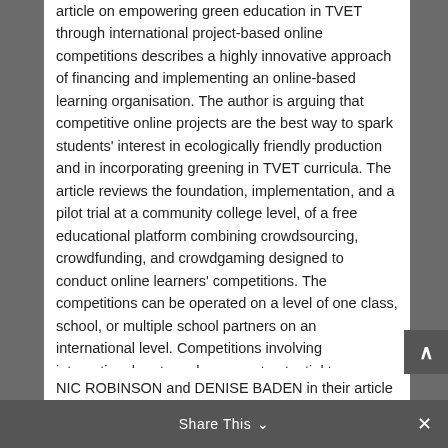article on empowering green education in TVET through international project-based online competitions describes a highly innovative approach of financing and implementing an online-based learning organisation. The author is arguing that competitive online projects are the best way to spark students' interest in ecologically friendly production and in incorporating greening in TVET curricula. The article reviews the foundation, implementation, and a pilot trial at a community college level, of a free educational platform combining crowdsourcing, crowdfunding, and crowdgaming designed to conduct online learners' competitions. The competitions can be operated on a level of one class, school, or multiple school partners on an international level. Competitions involving international partners have great potential to engage students in learning the best environmentally safe and prudent processes.
Share This ∨  ×
NIC ROBINSON and DENISE BADEN in their article